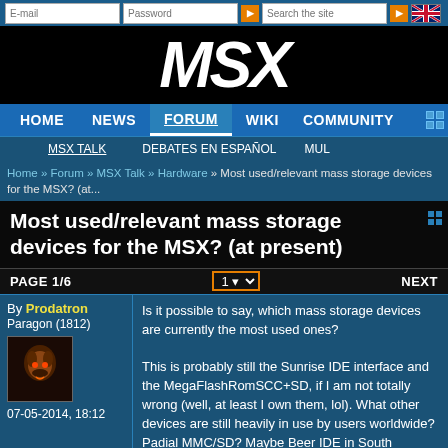MSX Resource Center - Login bar with E-mail, Password, Search
[Figure (logo): MSX logo in white italic bold text on black background]
HOME | NEWS | FORUM (active) | WIKI | COMMUNITY
MSX TALK | DEBATES EN ESPAÑOL | MUL...
Home » Forum » MSX Talk » Hardware » Most used/relevant mass storage devices for the MSX? (at...
Most used/relevant mass storage devices for the MSX? (at present)
PAGE 1/6  [1 ▾]  NEXT
By Prodatron
Paragon (1812)
07-05-2014, 18:12
Is it possible to say, which mass storage devices are currently the most used ones?
This is probably still the Sunrise IDE interface and the MegaFlashRomSCC+SD, if I am not totally wrong (well, at least I own them, lol). What other devices are still heavily in use by users worldwide? Padial MMC/SD? Maybe Beer IDE in South America? Or do many MSX users already use with DOS-interface?